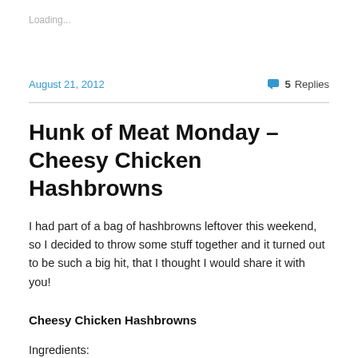Loading...
August 21, 2012
5 Replies
Hunk of Meat Monday – Cheesy Chicken Hashbrowns
I had part of a bag of hashbrowns leftover this weekend, so I decided to throw some stuff together and it turned out to be such a big hit, that I thought I would share it with you!
Cheesy Chicken Hashbrowns
Ingredients: